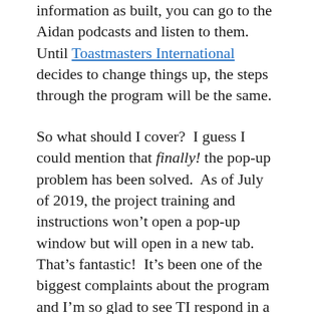information as built, you can go to the Aidan podcasts and listen to them.  Until Toastmasters International decides to change things up, the steps through the program will be the same.
So what should I cover?  I guess I could mention that finally! the pop-up problem has been solved.  As of July of 2019, the project training and instructions won't open a pop-up window but will open in a new tab.  That's fantastic!  It's been one of the biggest complaints about the program and I'm so glad to see TI respond in a positive way.  I am still waiting for Daniel Rex's promise to open the windows and let us see all the Pathways projects more fully.  In the mean time, I think